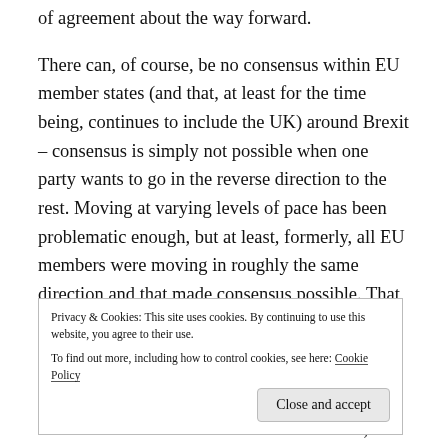of agreement about the way forward.
There can, of course, be no consensus within EU member states (and that, at least for the time being, continues to include the UK) around Brexit – consensus is simply not possible when one party wants to go in the reverse direction to the rest. Moving at varying levels of pace has been problematic enough, but at least, formerly, all EU members were moving in roughly the same direction and that made consensus possible. That is clearly no longer true, and I think we need to ensure that we remember that. This process will be difficult for
Privacy & Cookies: This site uses cookies. By continuing to use this website, you agree to their use.
To find out more, including how to control cookies, see here: Cookie Policy
interests of all. There is no common interest, and